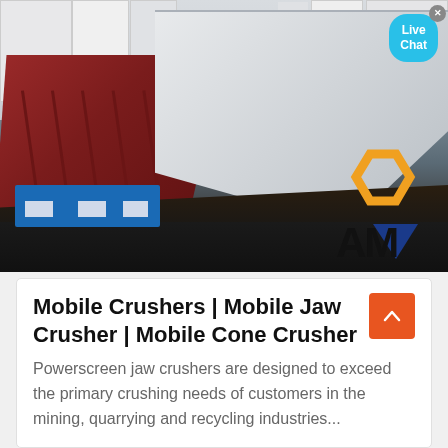[Figure (photo): Industrial crusher machine (mobile jaw/cone crusher) in a factory or yard setting. The machine has a large white/gray angled body and a red/rust colored side panel with structural supports. Blue plastic pallets are visible on the ground. Background shows industrial buildings. An orange and dark blue 'AM' logo is visible in the lower right of the photo. A cyan 'Live Chat' speech bubble with an X close button overlays the top right area of the image.]
Mobile Crushers | Mobile Jaw Crusher | Mobile Cone Crusher
Powerscreen jaw crushers are designed to exceed the primary crushing needs of customers in the mining, quarrying and recycling industries...